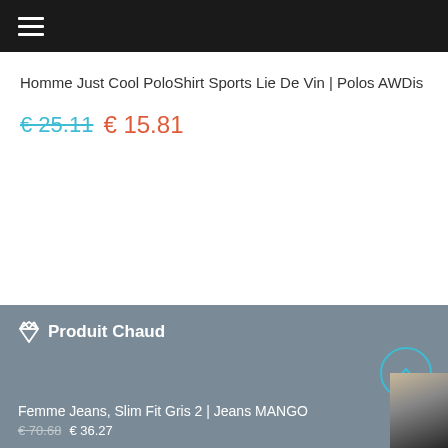≡
Homme Just Cool PoloShirt Sports Lie De Vin | Polos AWDis
€ 25.11 € 15.81
♦ Produit Chaud
Femme Jeans, Slim Fit Gris 2 | Jeans MANGO
€ 70.68 € 36.27